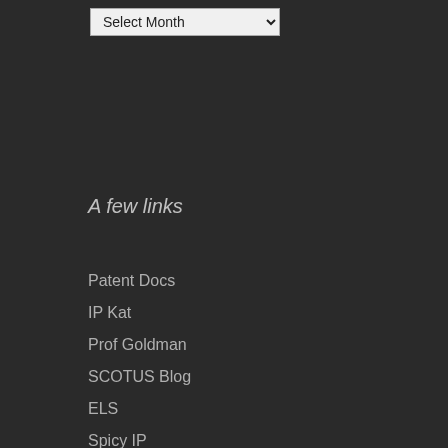A few links
Patent Docs
IP Kat
Prof Goldman
SCOTUS Blog
ELS
Spicy IP
The Patent Law Journal
Bill Vobach
IP Watchdog
Levin Crouch Patent Mediation Services